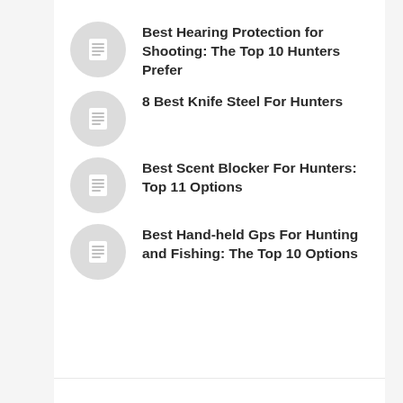Best Hearing Protection for Shooting: The Top 10 Hunters Prefer
8 Best Knife Steel For Hunters
Best Scent Blocker For Hunters: Top 11 Options
Best Hand-held Gps For Hunting and Fishing: The Top 10 Options